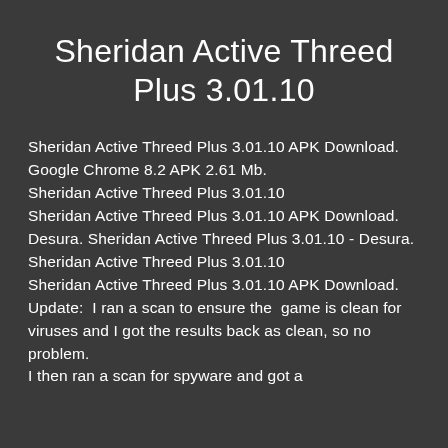Sheridan Active Threed Plus 3.01.10
Sheridan Active Threed Plus 3.01.10 APK Download.
Google Chrome 8.2 APK 2.61 Mb.
Sheridan Active Threed Plus 3.01.10
Sheridan Active Threed Plus 3.01.10 APK Download.
Desura. Sheridan Active Threed Plus 3.01.10 - Desura.
Sheridan Active Threed Plus 3.01.10
Sheridan Active Threed Plus 3.01.10 APK Download.
Update:  I ran a scan to ensure the  game is clean for viruses and I got the results back as clean, so no problem.
I then ran a scan for spyware and got a